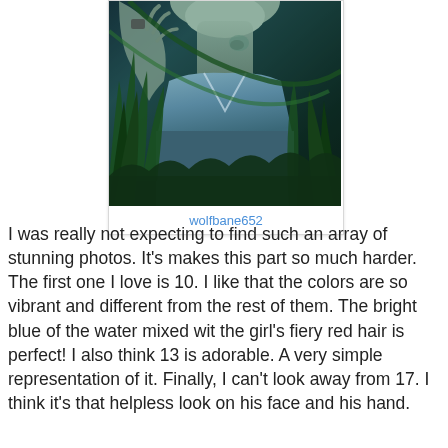[Figure (photo): Close-up photo of a person lying among grass and plants, with a blue-green tinted color palette. The person appears to be looking upward, visible from chin to chest area, wearing a white shirt, with dark green grass surrounding them.]
wolfbane652
I was really not expecting to find such an array of stunning photos. It's makes this part so much harder. The first one I love is 10. I like that the colors are so vibrant and different from the rest of them. The bright blue of the water mixed wit the girl's fiery red hair is perfect! I also think 13 is adorable. A very simple representation of it. Finally, I can't look away from 17. I think it's that helpless look on his face and his hand.